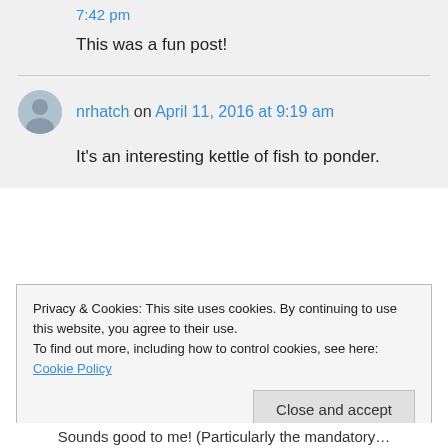7:42 pm
This was a fun post!
nrhatch on April 11, 2016 at 9:19 am
It's an interesting kettle of fish to ponder.
Privacy & Cookies: This site uses cookies. By continuing to use this website, you agree to their use. To find out more, including how to control cookies, see here: Cookie Policy
Close and accept
Sounds good to me! (Particularly the mandatory…